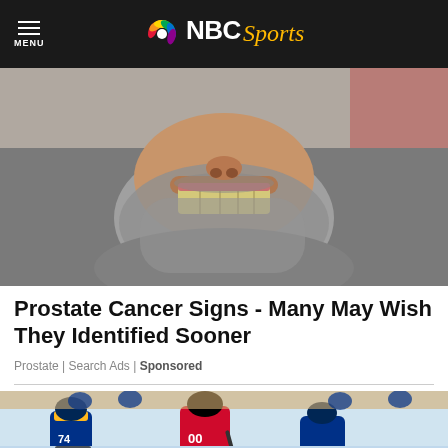NBC Sports
[Figure (photo): Close-up photo of a man's lower face with grey beard, grimacing to show yellowed teeth]
Prostate Cancer Signs - Many May Wish They Identified Sooner
Prostate | Search Ads | Sponsored
[Figure (photo): Ice hockey game photo showing a Chicago Blackhawks player in red jersey and Buffalo Sabres players in blue and white jerseys on ice, with NBC Sports logo and arena advertisement boards visible]